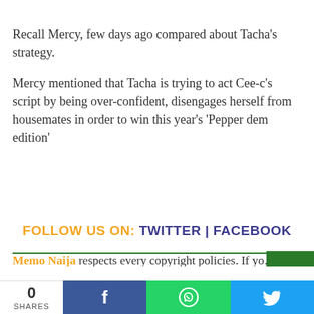Recall Mercy, few days ago compared about Tacha's strategy.
Mercy mentioned that Tacha is trying to act Cee-c's script by being over-confident, disengages herself from housemates in order to win this year's 'Pepper dem edition'
FOLLOW US ON: TWITTER | FACEBOOK
Memo Naija respects every copyright policies. If you feel the article you are reading or the music or video on this blog infringe on your privacy, kindly shoot us an email at memonaija@gmail.com with
0 SHARES | Facebook | WhatsApp | Twitter